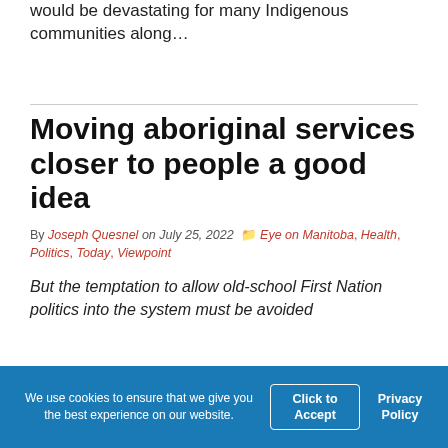would be devastating for many Indigenous communities along…
Moving aboriginal services closer to people a good idea
By Joseph Quesnel on July 25, 2022  Eye on Manitoba, Health, Politics, Today, Viewpoint
But the temptation to allow old-school First Nation politics into the system must be avoided
We use cookies to ensure that we give you the best experience on our website.  Click to Accept  Privacy Policy